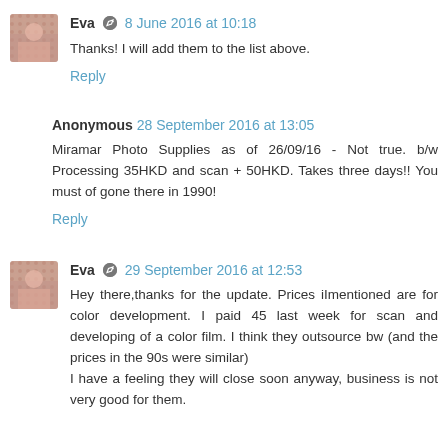Eva [edit icon] 8 June 2016 at 10:18
Thanks! I will add them to the list above.
Reply
Anonymous 28 September 2016 at 13:05
Miramar Photo Supplies as of 26/09/16 - Not true. b/w Processing 35HKD and scan + 50HKD. Takes three days!! You must of gone there in 1990!
Reply
Eva [edit icon] 29 September 2016 at 12:53
Hey there,thanks for the update. Prices iImentioned are for color development. I paid 45 last week for scan and developing of a color film. I think they outsource bw (and the prices in the 90s were similar)
I have a feeling they will close soon anyway, business is not very good for them.